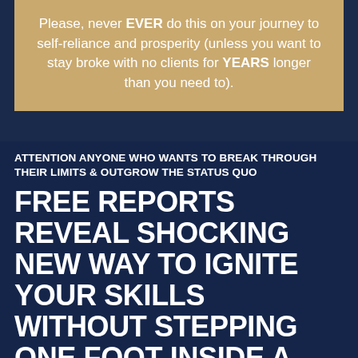Please, never EVER do this on your journey to self-reliance and prosperity (unless you want to stay broke with no clients for YEARS longer than you need to).
ATTENTION ANYONE WHO WANTS TO BREAK THROUGH THEIR LIMITS & OUTGROW THE STATUS QUO
FREE REPORTS REVEAL SHOCKING NEW WAY TO IGNITE YOUR SKILLS WITHOUT STEPPING ONE FOOT INSIDE A CLASSROOM